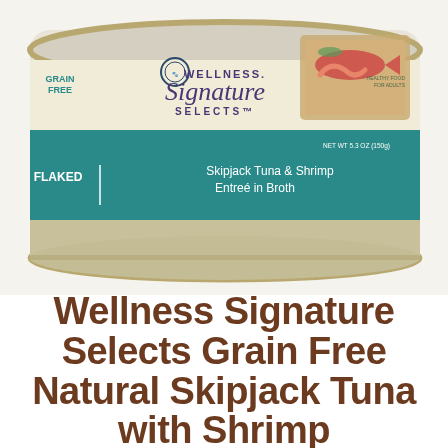[Figure (photo): A can of Wellness Signature Selects cat food, Grain Free, Flaked Skipjack Tuna & Shrimp Entree in Broth, 5.3 oz (150g), with a teal/green label band showing seafood imagery including fish, shrimp, and vegetables on a wooden cutting board.]
Wellness Signature Selects Grain Free Natural Skipjack Tuna with Shrimp